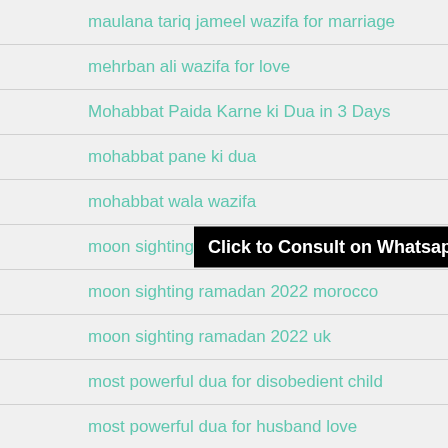maulana tariq jameel wazifa for marriage
mehrban ali wazifa for love
Mohabbat Paida Karne ki Dua in 3 Days
mohabbat pane ki dua
mohabbat wala wazifa
moon sighting for ramadan
moon sighting ramadan 2022 morocco
moon sighting ramadan 2022 uk
most powerful dua for disobedient child
most powerful dua for husband love